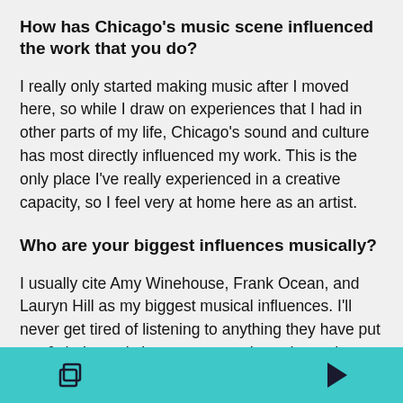How has Chicago’s music scene influenced the work that you do?
I really only started making music after I moved here, so while I draw on experiences that I had in other parts of my life, Chicago’s sound and culture has most directly influenced my work. This is the only place I’ve really experienced in a creative capacity, so I feel very at home here as an artist.
Who are your biggest influences musically?
I usually cite Amy Winehouse, Frank Ocean, and Lauryn Hill as my biggest musical influences. I’ll never get tired of listening to anything they have put out & their music has gotten me through rough patches at various points in my life. But I’ll honestly listen to